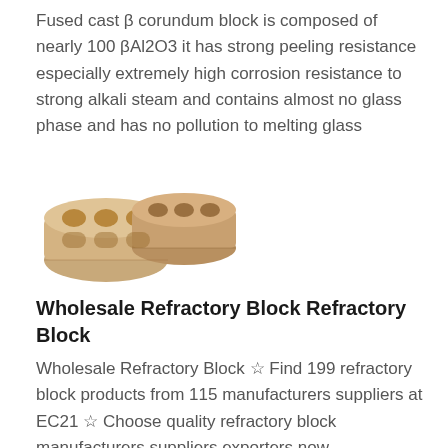Fused cast β corundum block is composed of nearly 100 βAl2O3 it has strong peeling resistance especially extremely high corrosion resistance to strong alkali steam and contains almost no glass phase and has no pollution to melting glass
[Figure (photo): Photograph of fused cast beta corundum refractory blocks with cross-shaped hollow holes, beige/tan color, stacked together]
Wholesale Refractory Block Refractory Block
Wholesale Refractory Block ☆ Find 199 refractory block products from 115 manufacturers suppliers at EC21 ☆ Choose quality refractory block manufacturers suppliers exporters now